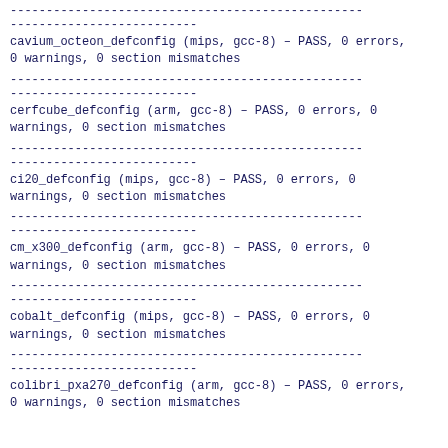cavium_octeon_defconfig (mips, gcc-8) – PASS, 0 errors, 0 warnings, 0 section mismatches
cerfcube_defconfig (arm, gcc-8) – PASS, 0 errors, 0 warnings, 0 section mismatches
ci20_defconfig (mips, gcc-8) – PASS, 0 errors, 0 warnings, 0 section mismatches
cm_x300_defconfig (arm, gcc-8) – PASS, 0 errors, 0 warnings, 0 section mismatches
cobalt_defconfig (mips, gcc-8) – PASS, 0 errors, 0 warnings, 0 section mismatches
colibri_pxa270_defconfig (arm, gcc-8) – PASS, 0 errors, 0 warnings, 0 section mismatches